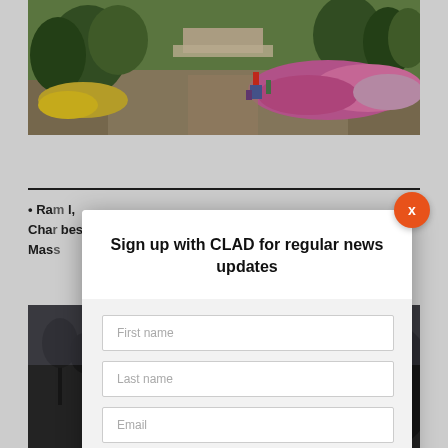[Figure (photo): Aerial/ground-level view of a public park with colorful flower beds (yellow, pink, purple), green trees, pathways, and people walking. A building/pavilion is visible in the background.]
• Ran [partial text cut off] ...l, Char[partial] ...bes Mass[partial]
[Figure (photo): Dark, moody landscape photo with silhouetted trees and a large dark hill or structure in the background against a grey sky.]
[Figure (screenshot): Modal dialog overlay: 'Sign up with CLAD for regular news updates' with First name, Last name, Email input fields and a SIGN UP button. Orange X close button in top right corner.]